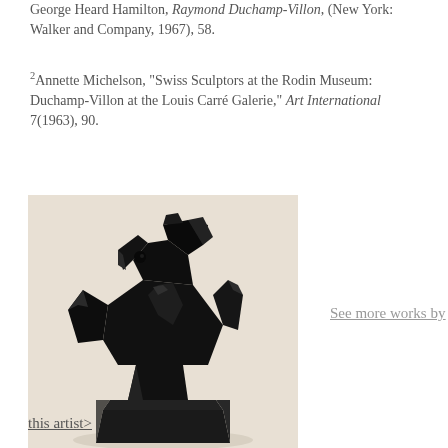George Heard Hamilton, Raymond Duchamp-Villon, (New York: Walker and Company, 1967), 58.
2Annette Michelson, "Swiss Sculptors at the Rodin Museum: Duchamp-Villon at the Louis Carré Galerie," Art International 7(1963), 90.
[Figure (photo): A black bronze sculpture of a horse head, abstract and geometric in style, mounted on a trapezoidal base, photographed against a light beige background.]
See more works by
this artist>